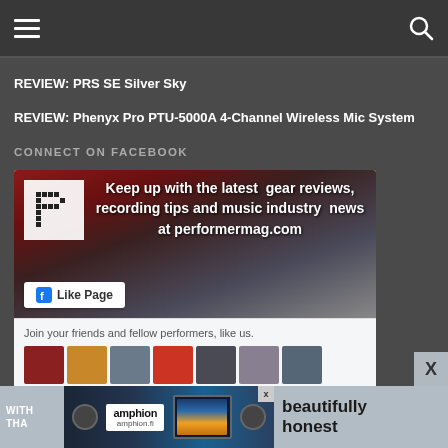Navigation bar with hamburger menu and search icon
REVIEW: PRS SE Silver Sky
REVIEW: Phenyx Pro PTU-5000A 4-Channel Wireless Mic System
CONNECT ON FACEBOOK
[Figure (screenshot): Facebook Like Page widget for performermag.com showing a guitarist image with text 'Keep up with the latest gear reviews, recording tips and music industry news at performermag.com', a Like Page button, and thumbnails of followers with text 'Join your friends and fellow performers, like us.']
[Figure (infographic): Advertisement banner for Amphion speakers - amphion.fi - with text 'beautifully honest' and an image of studio monitor speakers]
WITH THA...